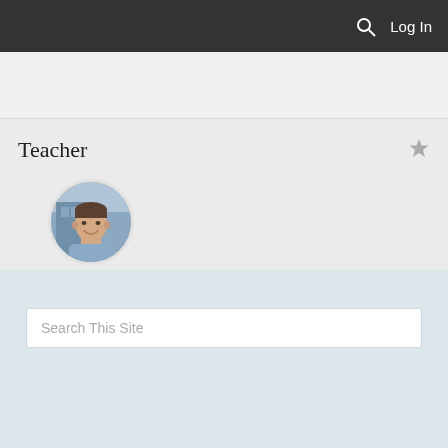Log In
Teacher
[Figure (photo): Circular profile photo of a smiling man in a light blue shirt, with a blurred background]
Timothy Best
Search This Site